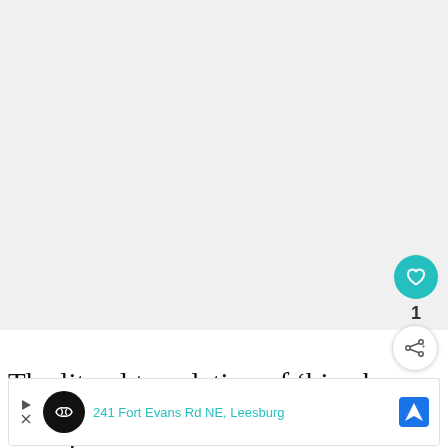[Figure (screenshot): White/light gray empty area at top of page, representing a blank content area of a webpage]
[Figure (infographic): Teal circular like/heart button with white heart icon, showing count '1', and a white share button below it]
[Figure (infographic): WHAT'S NEXT panel with thumbnail image and text 'The 23 Best Ways to...']
The literal translation of ‘bien bu… “good good,” but ‘bien’ can also mean
[Figure (infographic): Advertisement bar showing '241 Fort Evans Rd NE, Leesburg' with a navigation/map icon]